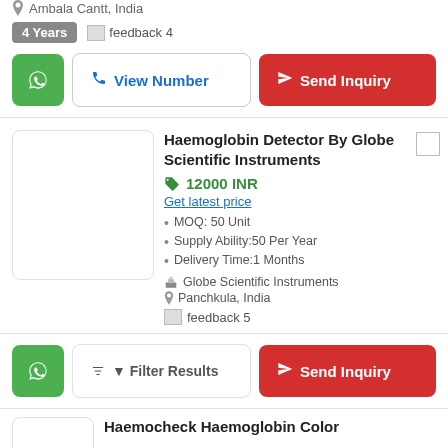Ambala Cantt, India
4 Years  feedback 4
View Number
Send Inquiry
Haemoglobin Detector By Globe Scientific Instruments
12000 INR
Get latest price
MOQ: 50 Unit
Supply Ability:50 Per Year
Delivery Time:1 Months
Globe Scientific Instruments
Panchkula, India
feedback 5
Filter Results
Send Inquiry
Haemocheck Haemoglobin Color